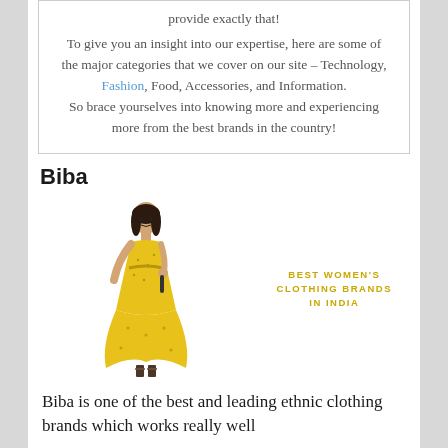provide exactly that! To give you an insight into our expertise, here are some of the major categories that we cover on our site – Technology, Fashion, Food, Accessories, and Information. So brace yourselves into knowing more and experiencing more from the best brands in the country!
Biba
[Figure (illustration): A woman wearing a yellow ethnic Indian dress (anarkali suit) standing, with text overlay reading 'BEST WOMEN'S CLOTHING BRANDS IN INDIA' in gold/yellow bold letters]
Biba is one of the best and leading ethnic clothing brands which works really well